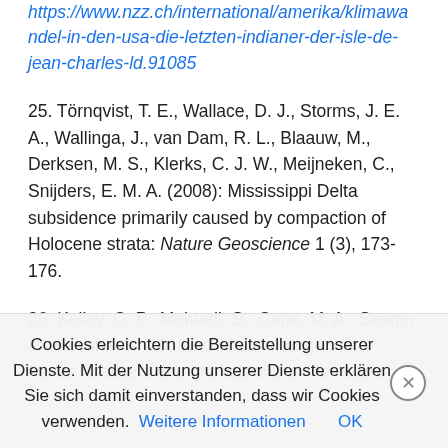https://www.nzz.ch/international/amerika/klimawandel-in-den-usa-die-letzten-indianer-der-isle-de-jean-charles-ld.91085
25. Törnqvist, T. E., Wallace, D. J., Storms, J. E. A., Wallinga, J., van Dam, R. L., Blaauw, M., Derksen, M. S., Klerks, C. J. W., Meijneken, C., Snijders, E. M. A. (2008): Mississippi Delta subsidence primarily caused by compaction of Holocene strata: Nature Geoscience 1 (3), 173-176.
26. Kelley, C. P., Mohtadi, S., Cane, M. A., Seager, R., Kushnir, Y. (2015): Climate change in the Fertile Crescent and implications of the recent...
Cookies erleichtern die Bereitstellung unserer Dienste. Mit der Nutzung unserer Dienste erklären Sie sich damit einverstanden, dass wir Cookies verwenden.  Weitere Informationen  OK